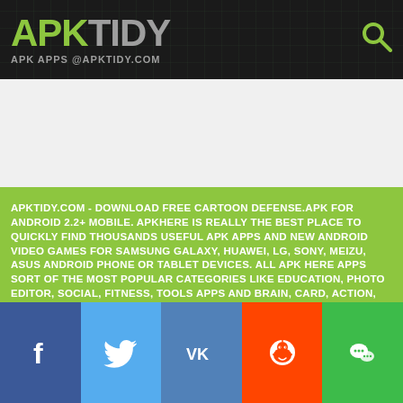APK TIDY - APK APPS @APKTIDY.COM
[Figure (other): White advertisement banner area]
APKTIDY.COM - DOWNLOAD FREE CARTOON DEFENSE.APK FOR ANDROID 2.2+ MOBILE. APKHERE IS REALLY THE BEST PLACE TO QUICKLY FIND THOUSANDS USEFUL APK APPS AND NEW ANDROID VIDEO GAMES FOR SAMSUNG GALAXY, HUAWEI, LG, SONY, MEIZU, ASUS ANDROID PHONE OR TABLET DEVICES. ALL APK HERE APPS SORT OF THE MOST POPULAR CATEGORIES LIKE EDUCATION, PHOTO EDITOR, SOCIAL, FITNESS, TOOLS APPS AND BRAIN, CARD, ACTION, PUZZLE, ONLINE, ARCADE, RACING GAMES IN .APK FILES FORMAT. SIMPLE, FAST AND SAFE APK APPS STORE FOR YOUR ANDROID AT APKTIDY.COM
APKTIDY MAIN
CATEGORIES
APK GAMES
APK APPS
TOS & DMCA
CONTACT US
[Figure (infographic): Social media share buttons: Facebook, Twitter, VK, Reddit, WeChat]